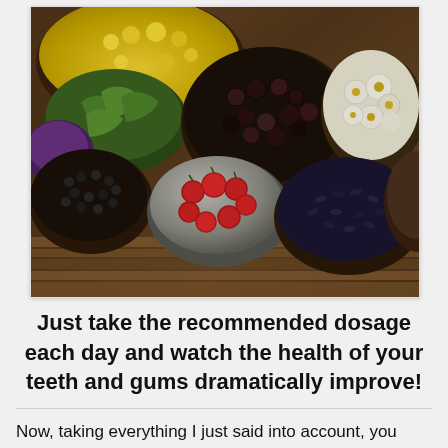[Figure (photo): Overhead photo of various herbs and spices in wooden and metal bowls on a wooden surface. Includes yellow flowers (chamomile), green dill, dried black berries, chamomile flowers, black peppercorns, red berries/cranberries, dried lavender or black rice, and other spices.]
Just take the recommended dosage each day and watch the health of your teeth and gums dramatically improve!
Now, taking everything I just said into account, you